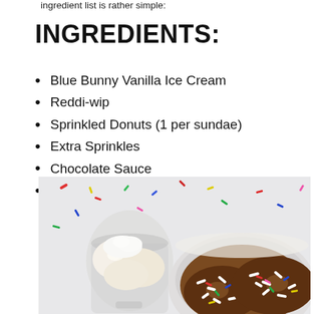ingredient list is rather simple:
INGREDIENTS:
Blue Bunny Vanilla Ice Cream
Reddi-wip
Sprinkled Donuts (1 per sundae)
Extra Sprinkles
Chocolate Sauce
Cherry
[Figure (photo): Overhead view of ice cream sundae ingredients: a glass with vanilla ice cream scoops on the left, and a white bowl with chocolate-glazed donuts covered in rainbow sprinkles on the right, with colorful sprinkles scattered on a light background.]